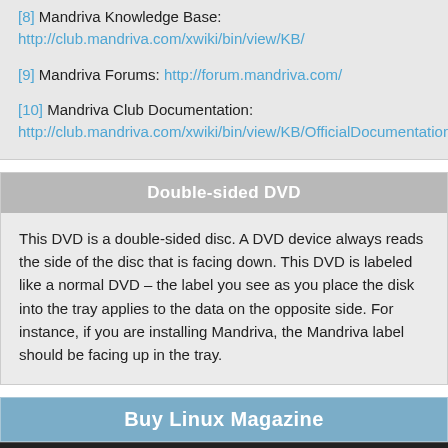[8] Mandriva Knowledge Base: http://club.mandriva.com/xwiki/bin/view/KB/
[9] Mandriva Forums: http://forum.mandriva.com/
[10] Mandriva Club Documentation: http://club.mandriva.com/xwiki/bin/view/KB/OfficialDocumentation
Double-sided DVD
This DVD is a double-sided disc. A DVD device always reads the side of the disc that is facing down. This DVD is labeled like a normal DVD – the label you see as you place the disk into the tray applies to the data on the opposite side. For instance, if you are installing Mandriva, the Mandriva label should be facing up in the tray.
Buy Linux Magazine
SINGLE ISSUES